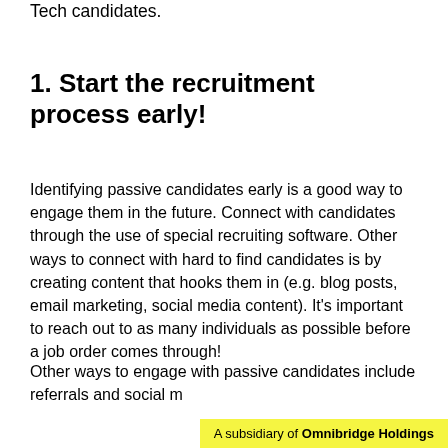Tech candidates.
1. Start the recruitment process early!
Identifying passive candidates early is a good way to engage them in the future. Connect with candidates through the use of special recruiting software. Other ways to connect with hard to find candidates is by creating content that hooks them in (e.g. blog posts, email marketing, social media content). It's important to reach out to as many individuals as possible before a job order comes through!
Other ways to engage with passive candidates include referrals and social m
A subsidiary of Omnibridge Holdings